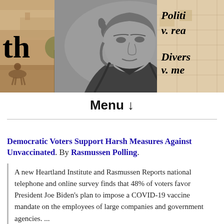[Figure (illustration): Website header banner composed of three panels: left panel shows a historical painting/illustration of a landscape scene with horses and riders, with large bold letters 'th' visible; center panel shows a black-and-white portrait engraving of a 19th-century man in profile; right panel shows a historical map background with italic bold text fragments 'Politic', 'v. rea', 'Divers', 'v. me']
Menu ↓
Democratic Voters Support Harsh Measures Against Unvaccinated. By Rasmussen Polling.
A new Heartland Institute and Rasmussen Reports national telephone and online survey finds that 48% of voters favor President Joe Biden's plan to impose a COVID-19 vaccine mandate on the employees of large companies and government agencies. ...